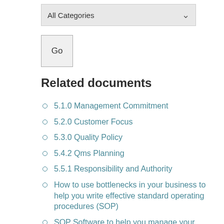[Figure (screenshot): Dropdown selector showing 'All Categories' with a chevron arrow on the right, styled with a grey background]
[Figure (screenshot): A 'Go' button with grey border and background]
Related documents
5.1.0 Management Commitment
5.2.0 Customer Focus
5.3.0 Quality Policy
5.4.2 Qms Planning
5.5.1 Responsibility and Authority
How to use bottlenecks in your business to help you write effective standard operating procedures (SOP)
SOP Software to help you manage your standard operating procedures (SOP)